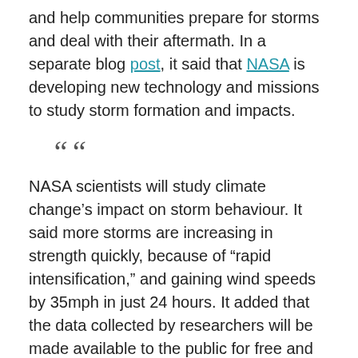and help communities prepare for storms and deal with their aftermath. In a separate blog post, it said that NASA is developing new technology and missions to study storm formation and impacts.
““
NASA scientists will study climate change’s impact on storm behaviour. It said more storms are increasing in strength quickly, because of “rapid intensification,” and gaining wind speeds by 35mph in just 24 hours. It added that the data collected by researchers will be made available to the public for free and for regional and local governments “to use to prepare for and understand the impacts of these disasters.”
NOAA has predicted a likely range of 13-20 named